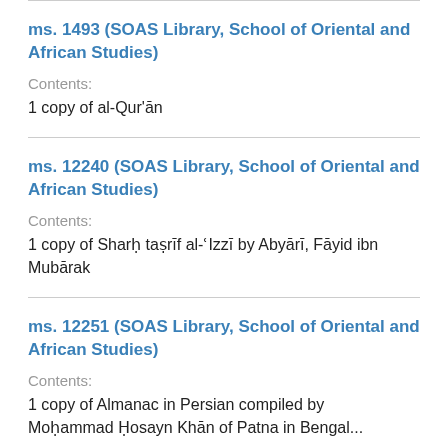ms. 1493 (SOAS Library, School of Oriental and African Studies)
Contents:
1 copy of al-Qur'ān
ms. 12240 (SOAS Library, School of Oriental and African Studies)
Contents:
1 copy of Sharḥ taṣrīf al-ʿIzzī by Abyārī, Fāyid ibn Mubārak
ms. 12251 (SOAS Library, School of Oriental and African Studies)
Contents:
1 copy of Almanac in Persian compiled by Moḥammad Ḥosayn Khān of Patna in Bengal...